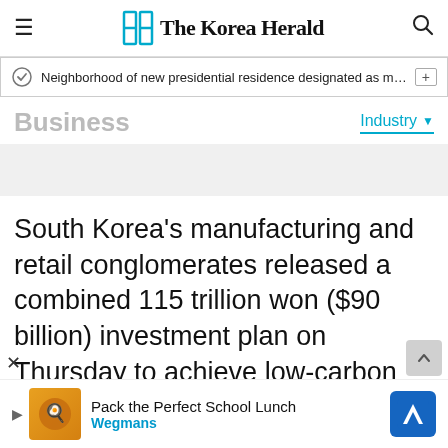The Korea Herald
Neighborhood of new presidential residence designated as milita…
Business — Industry
South Korea's manufacturing and retail conglomerates released a combined 115 trillion won ($90 billion) investment plan on Thursday to achieve low-carbon digital transformation and create new jobs, joining a relay of announcements heralding a busin…
[Figure (screenshot): Advertisement banner: Pack the Perfect School Lunch — Wegmans]